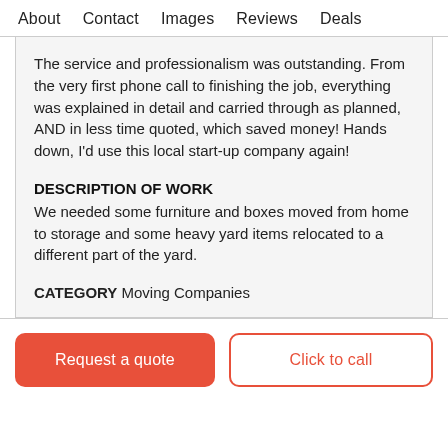About   Contact   Images   Reviews   Deals
The service and professionalism was outstanding. From the very first phone call to finishing the job, everything was explained in detail and carried through as planned, AND in less time quoted, which saved money! Hands down, I'd use this local start-up company again!
DESCRIPTION OF WORK
We needed some furniture and boxes moved from home to storage and some heavy yard items relocated to a different part of the yard.
CATEGORY Moving Companies
Request a quote
Click to call